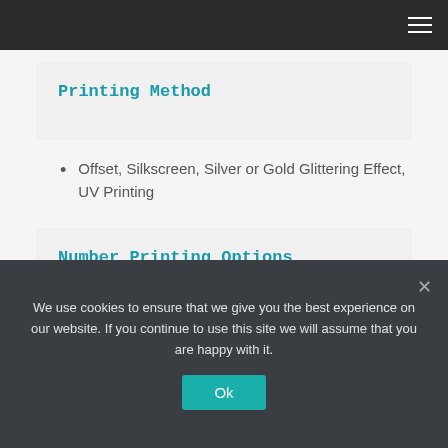Printing Method
Offset, Silkscreen, Silver or Gold Glittering Effect, UV Printing
Number Printing Options
Thermal Transfer Number, Ink Jet Number, Laser Number, Embossing Number
We use cookies to ensure that we give you the best experience on our website. If you continue to use this site we will assume that you are happy with it.